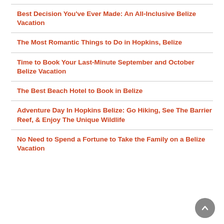Best Decision You've Ever Made: An All-Inclusive Belize Vacation
The Most Romantic Things to Do in Hopkins, Belize
Time to Book Your Last-Minute September and October Belize Vacation
The Best Beach Hotel to Book in Belize
Adventure Day In Hopkins Belize: Go Hiking, See The Barrier Reef, & Enjoy The Unique Wildlife
No Need to Spend a Fortune to Take the Family on a Belize Vacation